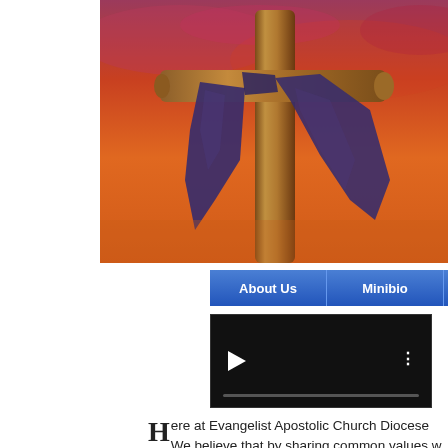[Figure (photo): A wooden cross with a dark cloth draped over the crossbeam, against an orange and red sunset sky.]
[Figure (screenshot): Navigation bar with blue gradient buttons labeled 'About Us', 'Minibio', 'Members', and a partially visible fourth button.]
[Figure (screenshot): A dark/black video player with a play button (triangle) on the left, a vertical three-dot menu icon on the right, and a progress bar at the bottom.]
Here at Evangelist Apostolic Church Diocese We believe that by sharing common values w